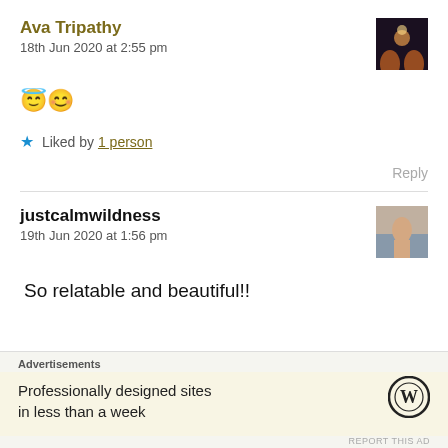Ava Tripathy
18th Jun 2020 at 2:55 pm
😇😊
★ Liked by 1 person
Reply
justcalmwildness
19th Jun 2020 at 1:56 pm
So relatable and beautiful!!
Advertisements
Professionally designed sites in less than a week